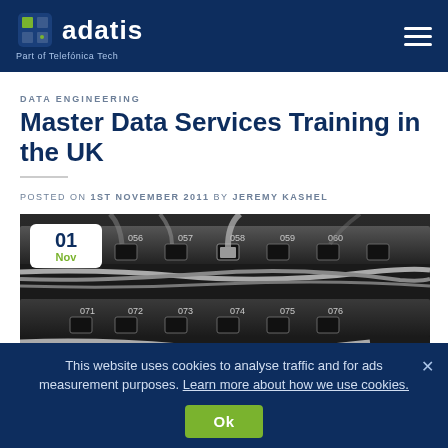adatis — Part of Telefónica Tech
DATA ENGINEERING
Master Data Services Training in the UK
POSTED ON 1ST NOVEMBER 2011 BY JEREMY KASHEL
[Figure (photo): Black and white photo of a network patch panel with ethernet cables plugged in, showing numbered ports (056–059, 072–075 visible). A white date badge shows '01 Nov' in the top-left corner.]
This website uses cookies to analyse traffic and for ads measurement purposes. Learn more about how we use cookies.